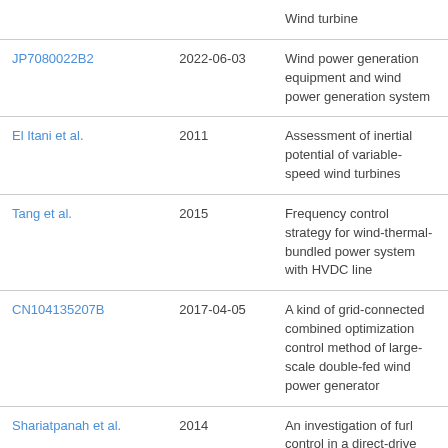| Reference | Date | Title |
| --- | --- | --- |
| [truncated top] |  | Wind turbine |
| JP7080022B2 | 2022-06-03 | Wind power generation equipment and wind power generation system |
| El Itani et al. | 2011 | Assessment of inertial potential of variable-speed wind turbines |
| Tang et al. | 2015 | Frequency control strategy for wind-thermal-bundled power system with HVDC line |
| CN104135207B | 2017-04-05 | A kind of grid-connected combined optimization control method of large-scale double-fed wind power generator |
| Shariatpanah et al. | 2014 | An investigation of furl control in a direct-drive PMSG wind turbine |